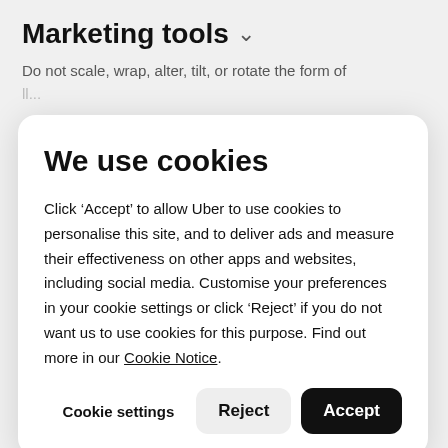Marketing tools
Do not scale, wrap, alter, tilt, or rotate the form of the l...
We use cookies
Click ‘Accept’ to allow Uber to use cookies to personalise this site, and to deliver ads and measure their effectiveness on other apps and websites, including social media. Customise your preferences in your cookie settings or click ‘Reject’ if you do not want us to use cookies for this purpose. Find out more in our Cookie Notice.
Cookie settings
Reject
Accept